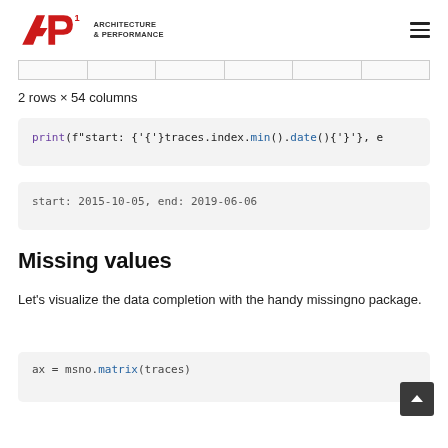Architecture & Performance
[Figure (table-as-image): Partial table stub showing column separators, appears to be bottom edge of a data table with 6 columns]
2 rows × 54 columns
[Figure (screenshot): Code block: print(f"start: {traces.index.min().date()}, e]
[Figure (screenshot): Output block: start: 2015-10-05, end: 2019-06-06]
Missing values
Let's visualize the data completion with the handy missingno package.
[Figure (screenshot): Code block: ax = msno.matrix(traces)]